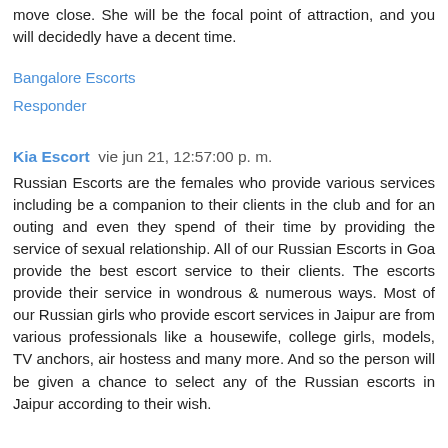move close. She will be the focal point of attraction, and you will decidedly have a decent time.
Bangalore Escorts
Responder
Kia Escort  vie jun 21, 12:57:00 p. m.
Russian Escorts are the females who provide various services including be a companion to their clients in the club and for an outing and even they spend of their time by providing the service of sexual relationship. All of our Russian Escorts in Goa provide the best escort service to their clients. The escorts provide their service in wondrous & numerous ways. Most of our Russian girls who provide escort services in Jaipur are from various professionals like a housewife, college girls, models, TV anchors, air hostess and many more. And so the person will be given a chance to select any of the Russian escorts in Jaipur according to their wish.